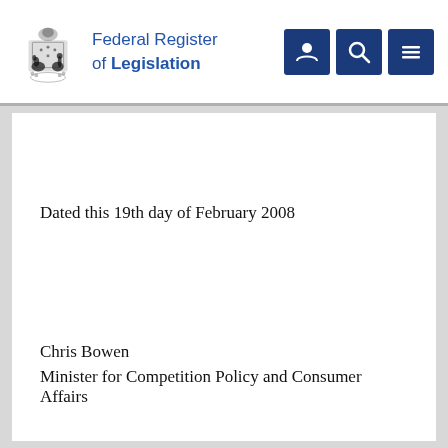Federal Register of Legislation
Dated this 19th day of February 2008
Chris Bowen
Minister for Competition Policy and Consumer Affairs